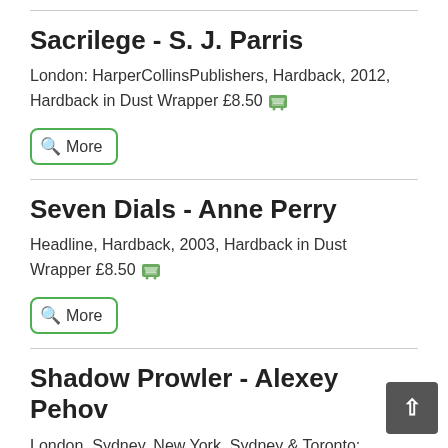Sacrilege - S. J. Parris
London: HarperCollinsPublishers, Hardback, 2012, Hardback in Dust Wrapper £8.50
More
Seven Dials - Anne Perry
Headline, Hardback, 2003, Hardback in Dust Wrapper £8.50
More
Shadow Prowler - Alexey Pehov
London, Sydney, New York, Sydney & Toronto: